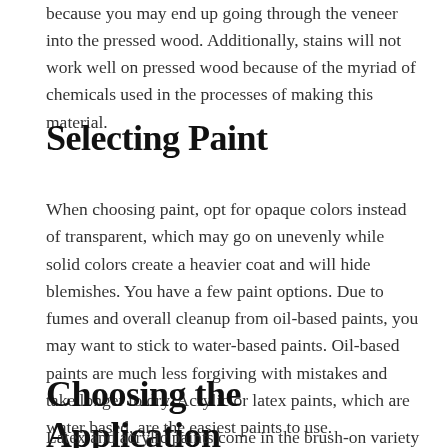because you may end up going through the veneer into the pressed wood. Additionally, stains will not work well on pressed wood because of the myriad of chemicals used in the processes of making this material.
Selecting Paint
When choosing paint, opt for opaque colors instead of transparent, which may go on unevenly while solid colors create a heavier coat and will hide blemishes. You have a few paint options. Due to fumes and overall cleanup from oil-based paints, you may want to stick to water-based paints. Oil-based paints are much less forgiving with mistakes and take longer to dry. Acrylic or latex paints, which are water based, are the easiest paints to use.
Choosing the Application
Latex and acrylic paints come in the brush-on variety as